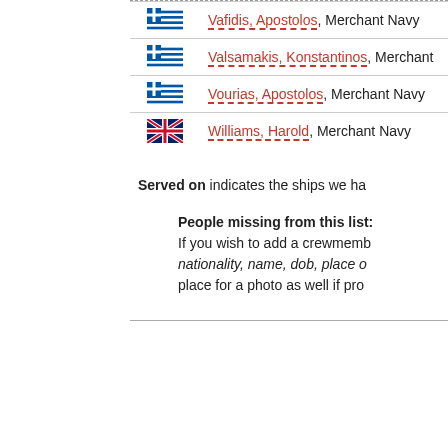Vafidis, Apostolos, Merchant Navy
Valsamakis, Konstantinos, Merchant
Vourias, Apostolos, Merchant Navy
Williams, Harold, Merchant Navy
Served on indicates the ships we ha
People missing from this list: If you wish to add a crewmemb nationality, name, dob, place o place for a photo as well if pro